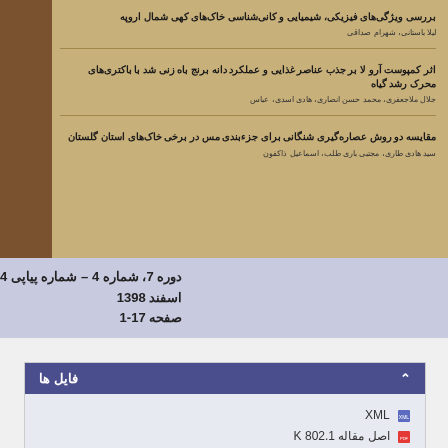بررسی ویژگی‌های فیزیکی، شیمیایی و کانی‌شناسی خاک‌های کهی شمال اروپه
لیلا باستانی، شهرام صداقی
اثر کمپوست آرو لا بر جذب عناصر غذایی و عملکرد دانه برنج باه زنی شد با باکتری‌های محرک رشد گیاه
جلال ملاجعفری، محمد حسن انصاری، هادی اسدی، عباس
مقایسه دو روش عصاره‌گیری شنگانی برای جزءبندی مس در برخی خاک‌های استان گلستان
سید هادی طاری، مجتبی باری طلب، اسماعیل ذاکفون
دوره 7، شماره 4 – شماره پیاپی 4
اسفند 1398
صفحه 17-1
فایل ها
XML
اصل مقاله 802.1 K